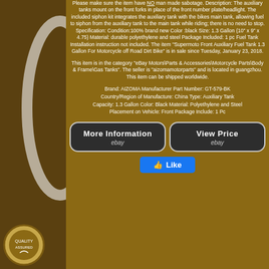Please make sure the item have NO man made sabotage. Description: The auxiliary tanks mount on the front forks in place of the front number plate/headlight. The included siphon kit integrates the auxiliary tank with the bikes main tank, allowing fuel to siphon from the auxiliary tank to the main tank while riding; there is no need to stop. Specification: Condition:100% brand new Color :black Size: 1.3 Gallon (10" x 9" x 4.75) Material: durable polyethylene and steel Package Included: 1 pc Fuel Tank Installation instruction not included. The item "Supermoto Front Auxiliary Fuel Tank 1.3 Gallon For Motorcycle off Road Dirt Bike" is in sale since Tuesday, January 23, 2018.
This item is in the category "eBay Motors\Parts & Accessories\Motorcycle Parts\Body & Frame\Gas Tanks". The seller is "aizomamotorparts" and is located in guangzhou. This item can be shipped worldwide.
Brand: AIZOMA Manufacturer Part Number: GT-579-BK Country/Region of Manufacture: China Type: Auxiliary Tank Capacity: 1.3 Gallon Color: Black Material: Polyethylene and Steel Placement on Vehicle: Front Package Include: 1 Pc
[Figure (other): More Information eBay button (dark rounded rectangle with white text)]
[Figure (other): View Price eBay button (dark rounded rectangle with white text)]
[Figure (other): Facebook Like button (blue rounded rectangle with thumbs up icon and Like text)]